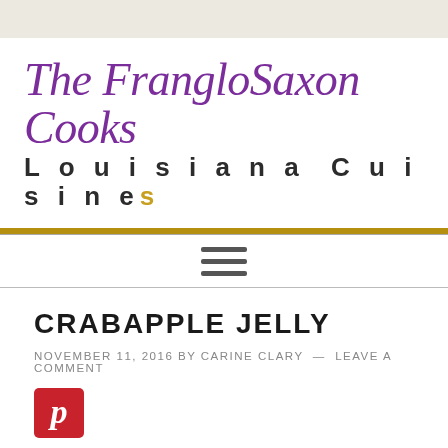The FrangloSaxon Cooks Louisiana Cuisines
CRABAPPLE JELLY
NOVEMBER 11, 2016 BY CARINE CLARY — LEAVE A COMMENT
[Figure (logo): Pinterest red square button with italic P logo]